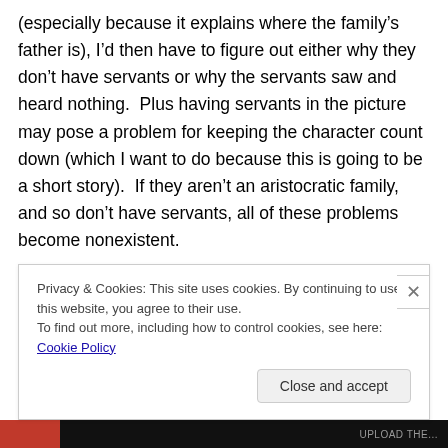(especially because it explains where the family's father is), I'd then have to figure out either why they don't have servants or why the servants saw and heard nothing.  Plus having servants in the picture may pose a problem for keeping the character count down (which I want to do because this is going to be a short story).  If they aren't an aristocratic family, and so don't have servants, all of these problems become nonexistent.

Most of the work I did was yesterday, but I did find names for the characters today.  I'm planning on doing some
Privacy & Cookies: This site uses cookies. By continuing to use this website, you agree to their use.
To find out more, including how to control cookies, see here: Cookie Policy